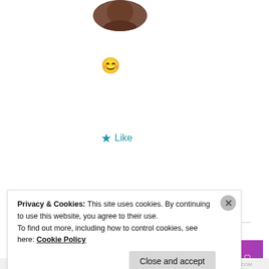[Figure (photo): Circular profile picture showing a person, partially cropped at top]
[Figure (illustration): Smiling face emoji (😊)]
★ Like
[Figure (illustration): Fandom advertisement banner with gradient orange-to-purple background, white doodles (sailboat, skull, dice, musical notes, hearts), and large 'FANDOM' text in black bold letters]
Advertisements
Privacy & Cookies: This site uses cookies. By continuing to use this website, you agree to their use.
To find out more, including how to control cookies, see here: Cookie Policy
Close and accept